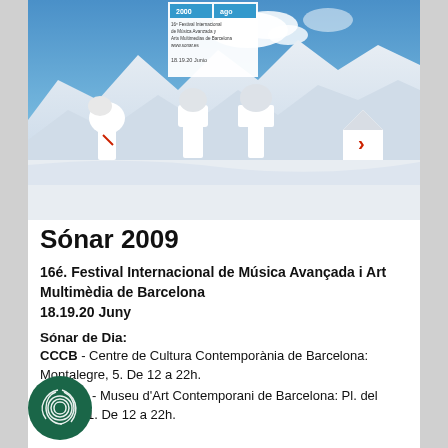[Figure (photo): Festival poster photo showing white sculptural figures in a snowy mountain landscape, with blue sky and clouds. A small festival branding box appears in the upper left corner with 'Sónar 2000' branding and text '16é Festival Internacional de Música Avanzada y Arts Multimedias de Barcelona www.sonar.es' and '18.19.20 Junio'.]
Sónar 2009
16é. Festival Internacional de Música Avançada i Art Multimèdia de Barcelona
18.19.20 Juny
Sónar de Dia:
CCCB - Centre de Cultura Contemporània de Barcelona: Montalegre, 5. De 12 a 22h.
MACBA - Museu d'Art Contemporani de Barcelona: Pl. del Àngels, 1. De 12 a 22h.